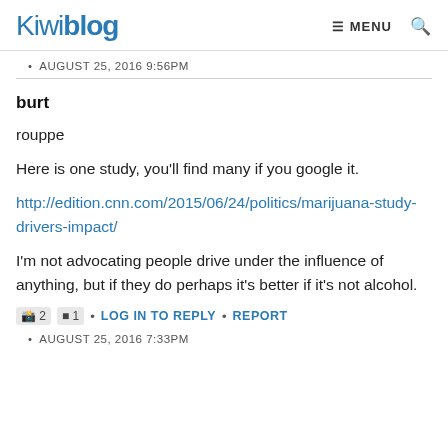Kiwiblog  ≡ MENU  🔍
AUGUST 25, 2016 9:56PM
burt
rouppe
Here is one study, you'll find many if you google it.
http://edition.cnn.com/2015/06/24/politics/marijuana-study-drivers-impact/
I'm not advocating people drive under the influence of anything, but if they do perhaps it's better if it's not alcohol.
2  1  •  LOG IN TO REPLY  •  REPORT
AUGUST 25, 2016 7:33PM